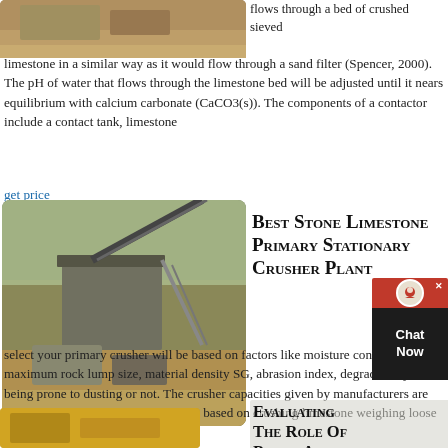[Figure (photo): Partial view of limestone quarry or sand processing site, top of page]
flows through a bed of crushed sieved limestone in a similar way as it would flow through a sand filter (Spencer, 2000). The pH of water that flows through the limestone bed will be adjusted until it nears equilibrium with calcium carbonate (CaCO3(s)). The components of a contactor include a contact tank, limestone
get price
[Figure (photo): Large stone crusher / stationary crusher plant at a limestone quarrying site]
Best Stone Limestone Primary Stationary Crusher Plant
2021-3-31   2021-3-31   How you select your primary crusher will be based on factors like moisture content, maximum rock lump size, material density SG, abrasion index, degradability and it being prone to dusting or not. The crusher capacities given by manufacturers are typically in tons of 2,000 lbs. and are based on crushing limestone weighing loose about 2,700 []
[Figure (photo): Partial view of yellow heavy equipment / crusher machinery, bottom of page]
Evaluating The Role Of Biotic And C…